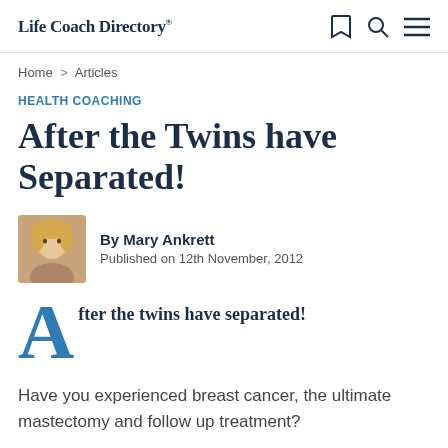Life Coach Directory®
Home > Articles
HEALTH COACHING
After the Twins have Separated!
By Mary Ankrett
Published on 12th November, 2012
After the twins have separated!
Have you experienced breast cancer, the ultimate mastectomy and follow up treatment?